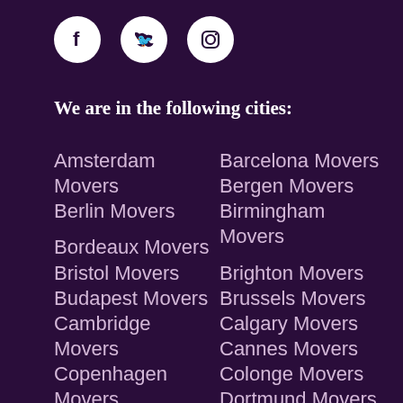[Figure (illustration): Three social media icons (Facebook, Twitter, Instagram) as white circles on dark background]
We are in the following cities:
Amsterdam Movers
Barcelona Movers
Berlin Movers
Bergen Movers
Birmingham Movers
Bordeaux Movers
Brighton Movers
Bristol Movers
Brussels Movers
Budapest Movers
Calgary Movers
Cambridge Movers
Cannes Movers
Colonge Movers
Copenhagen Movers
Dortmund Movers
Dublin Movers
Düsseldorf Movers
Edinburgh Movers
Edmonton Movers